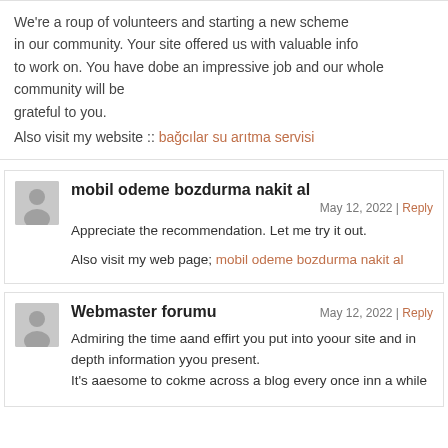We're a roup of volunteers and starting a new scheme in our community. Your site offered us with valuable info to work on. You have dobe an impressive job and our whole community will be grateful to you.
Also visit my website :: bağcılar su arıtma servisi
mobil odeme bozdurma nakit al
May 12, 2022 | Reply
Appreciate the recommendation. Let me try it out.
Also visit my web page; mobil odeme bozdurma nakit al
Webmaster forumu
May 12, 2022 | Reply
Admiring the time aand effirt you put into yoour site and in depth information yyou present. It's aaesome to cokme across a blog every once inn a while